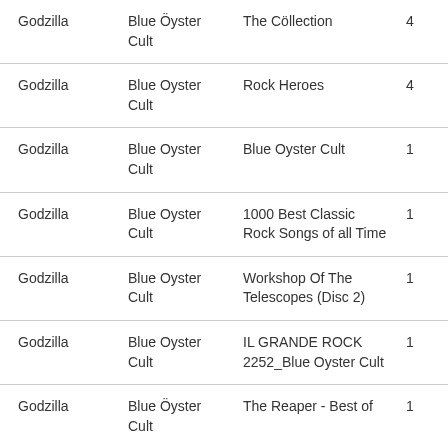| Godzilla | Blue Öyster Cult | The Cöllection | 4 |
| Godzilla | Blue Oyster Cult | Rock Heroes | 4 |
| Godzilla | Blue Oyster Cult | Blue Oyster Cult | 1 |
| Godzilla | Blue Oyster Cult | 1000 Best Classic Rock Songs of all Time | 1 |
| Godzilla | Blue Oyster Cult | Workshop Of The Telescopes (Disc 2) | 1 |
| Godzilla | Blue Oyster Cult | IL GRANDE ROCK 2252_Blue Oyster Cult | 1 |
| Godzilla | Blue Öyster Cult | The Reaper - Best of | 1 |